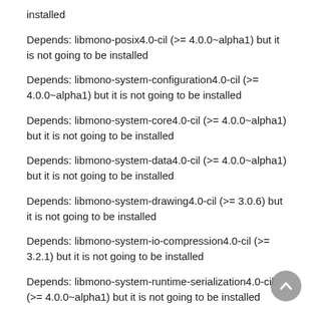installed
Depends: libmono-posix4.0-cil (>= 4.0.0~alpha1) but it is not going to be installed
Depends: libmono-system-configuration4.0-cil (>= 4.0.0~alpha1) but it is not going to be installed
Depends: libmono-system-core4.0-cil (>= 4.0.0~alpha1) but it is not going to be installed
Depends: libmono-system-data4.0-cil (>= 4.0.0~alpha1) but it is not going to be installed
Depends: libmono-system-drawing4.0-cil (>= 3.0.6) but it is not going to be installed
Depends: libmono-system-io-compression4.0-cil (>= 3.2.1) but it is not going to be installed
Depends: libmono-system-runtime-serialization4.0-cil (>= 4.0.0~alpha1) but it is not going to be installed
Depends: libmono-system-servicemodel4.0a-cil (>= 3.2.3) but it is not going to be installed